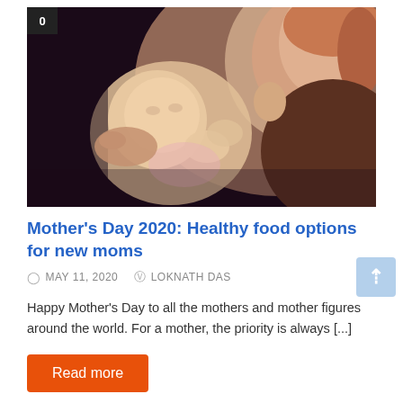[Figure (photo): A mother holding a newborn baby close to her face, touching noses, against a dark background. A small black badge with '0' appears in the top-left corner of the image.]
Mother's Day 2020: Healthy food options for new moms
MAY 11, 2020   LOKNATH DAS
Happy Mother's Day to all the mothers and mother figures around the world. For a mother, the priority is always [...]
Read more